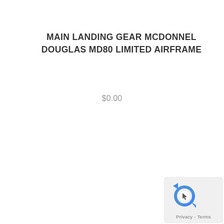MAIN LANDING GEAR MCDONNEL DOUGLAS MD80 LIMITED AIRFRAME
$0.00
[Figure (logo): Google reCAPTCHA widget with circular arrow logo and 'Privacy - Terms' text, rounded rectangle badge in bottom-right corner]